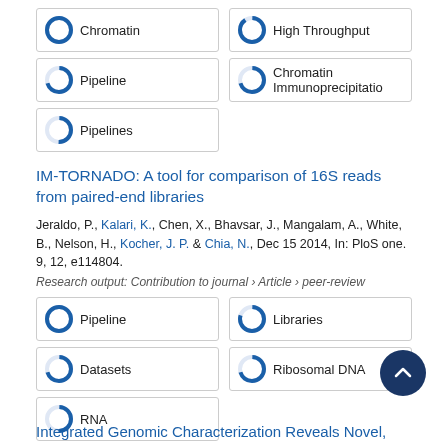[Figure (infographic): Keyword badges with donut chart icons: Chromatin (100%), High Throughput (~90%), Pipeline (~70%), Chromatin Immunoprecipitation (~70%), Pipelines (~50%)]
IM-TORNADO: A tool for comparison of 16S reads from paired-end libraries
Jeraldo, P., Kalari, K., Chen, X., Bhavsar, J., Mangalam, A., White, B., Nelson, H., Kocher, J. P. & Chia, N., Dec 15 2014, In: PloS one. 9, 12, e114804.
Research output: Contribution to journal › Article › peer-review
[Figure (infographic): Keyword badges with donut chart icons: Pipeline (100%), Libraries (~80%), Datasets (~70%), Ribosomal DNA (~70%), RNA (~50%)]
Integrated Genomic Characterization Reveals Novel,